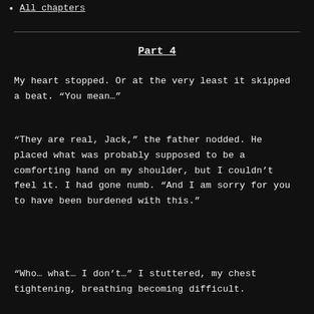All chapters
Part 4
My heart stopped. Or at the very least it skipped a beat. “You mean…”
“They are real, Jack,” the father nodded. He placed what was probably supposed to be a comforting hand on my shoulder, but I couldn’t feel it. I had gone numb. “And I am sorry for you to have been burdened with this.”
“Who… what… I don’t…” I stuttered, my chest tightening, breathing becoming difficult.